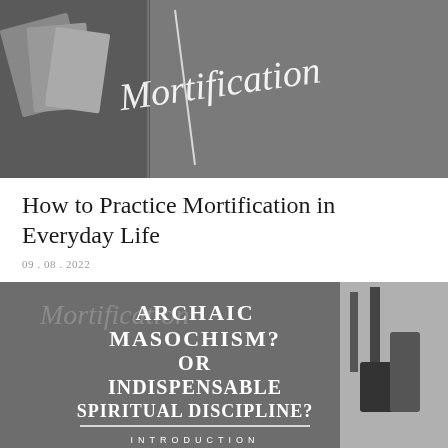[Figure (photo): Grayscale image with decorative script text reading 'Mortification' on a dark gray background, with a small photo of pages/books on the left side]
How to Practice Mortification in Everyday Life
09 . 08 . 2022
[Figure (infographic): Dark gray square graphic with white text reading 'ARCHAIC MASOCHISM? OR INDISPENSABLE SPIRITUAL DISCIPLINE?' with a decorative script behind and a horizontal line separator, and 'INTRODUCTION' at the bottom in spaced capitals. A black and white photo of candles/objects is partially visible on the right side.]